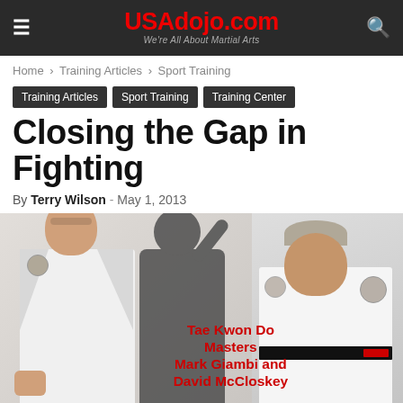USAdojo.com — We're All About Martial Arts
Home › Training Articles › Sport Training
Training Articles
Sport Training
Training Center
Closing the Gap in Fighting
By Terry Wilson - May 1, 2013
[Figure (photo): Two Tae Kwon Do masters in white gis: a bald man in fighting stance and a man with grey hair standing confidently, with a silhouette figure behind them. Red text overlay reads: Tae Kwon Do Masters Mark Giambi and David McCloskey]